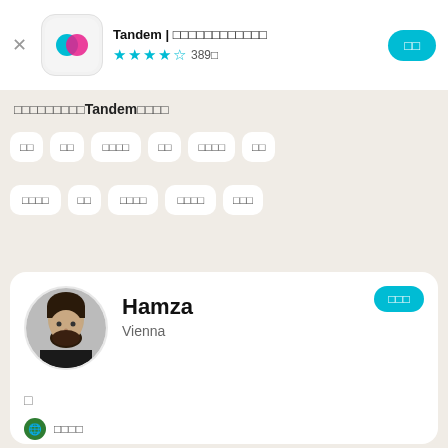Tandem | □□□□□□□□□□□□  ★★★★☆ 389□
□□□□□□□□□ Tandem□□□□□
□□  □□  □□□□  □□  □□□□  □□
□□□□  □□  □□□□  □□□□  □□□
Hamza
Vienna
□
□□□□
□